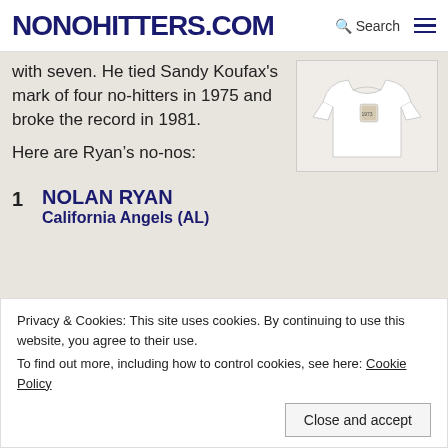NONOHITTERS.COM
with seven. He tied Sandy Koufax's mark of four no-hitters in 1975 and broke the record in 1981.
[Figure (photo): White baseball shirt/jersey product image]
Here are Ryan's no-nos:
1  NOLAN RYAN  California Angels (AL)
Privacy & Cookies: This site uses cookies. By continuing to use this website, you agree to their use. To find out more, including how to control cookies, see here: Cookie Policy
2  NOLAN RYAN